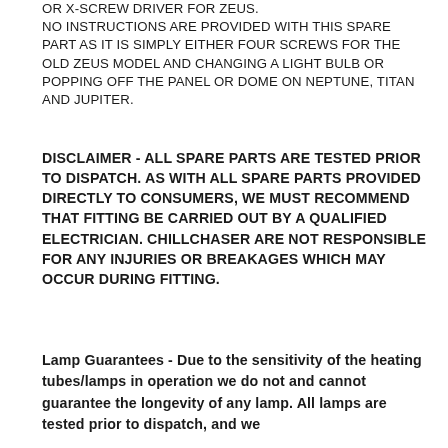OR X-SCREW DRIVER FOR ZEUS. NO INSTRUCTIONS ARE PROVIDED WITH THIS SPARE PART AS IT IS SIMPLY EITHER FOUR SCREWS FOR THE OLD ZEUS MODEL AND CHANGING A LIGHT BULB OR POPPING OFF THE PANEL OR DOME ON NEPTUNE, TITAN AND JUPITER.
DISCLAIMER - ALL SPARE PARTS ARE TESTED PRIOR TO DISPATCH. AS WITH ALL SPARE PARTS PROVIDED DIRECTLY TO CONSUMERS, WE MUST RECOMMEND THAT FITTING BE CARRIED OUT BY A QUALIFIED ELECTRICIAN. CHILLCHASER ARE NOT RESPONSIBLE FOR ANY INJURIES OR BREAKAGES WHICH MAY OCCUR DURING FITTING.
Lamp Guarantees - Due to the sensitivity of the heating tubes/lamps in operation we do not and cannot guarantee the longevity of any lamp. All lamps are tested prior to dispatch, and we